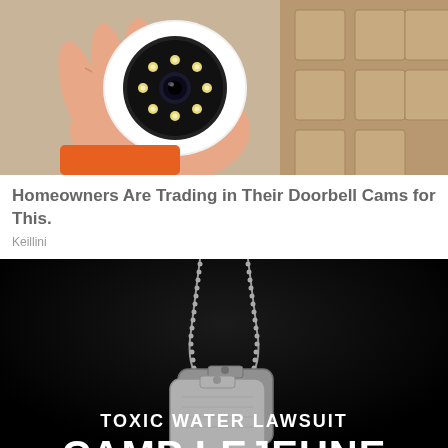[Figure (photo): A hand holding a small white spherical security camera with a circular lens surrounded by LED lights, with white product boxes visible in the background]
Homeowners Are Trading in Their Doorbell Cams for This.
Keillini
[Figure (photo): Military dog tags hanging on a ball chain against a black background, with text overlay reading TOXIC WATER LAWSUIT and CAMP LEJEUNE]